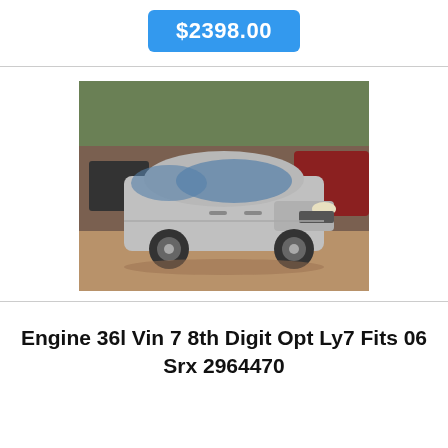$2398.00
[Figure (photo): Silver Cadillac SRX sedan parked on dirt/gravel lot in a junkyard, other vehicles visible in background]
Engine 36l Vin 7 8th Digit Opt Ly7 Fits 06 Srx 2964470